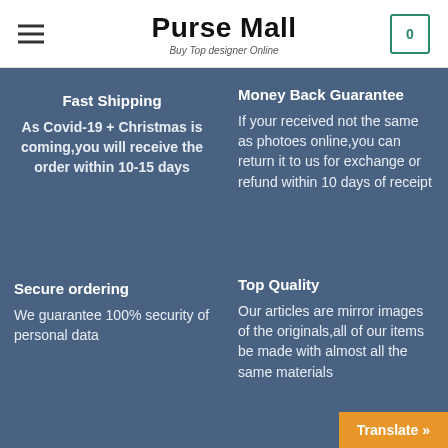Purse Mall — Buy Top designer Online
Fast Shipping
As Covid-19 + Christmas is coming,you will receive the order within 10-15 days
Money Back Guarantee
If your received not the same as photoes online,you can return it to us for exchange or refund within 10 days of receipt
Secure ordering
We guarantee 100% security of personal data
Top Quality
Our articles are mirror images of the originals,all of our items be made with almost all the same materials